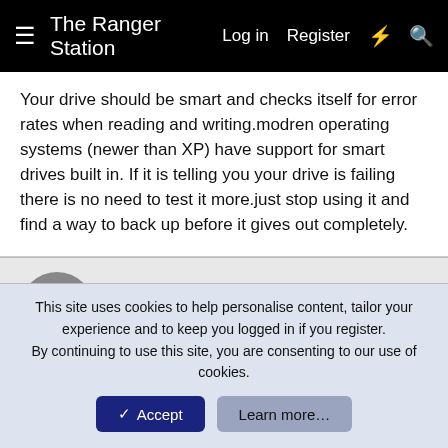The Ranger Station  Log in  Register
Your drive should be smart and checks itself for error rates when reading and writing.modren operating systems (newer than XP) have support for smart drives built in. If it is telling you your drive is failing there is no need to test it more.just stop using it and find a way to back up before it gives out completely.
Psychopete
Well-Known Member
Jun 25, 2012  #13
Jim Oaks said: ↑
This site uses cookies to help personalise content, tailor your experience and to keep you logged in if you register.
By continuing to use this site, you are consenting to our use of cookies.